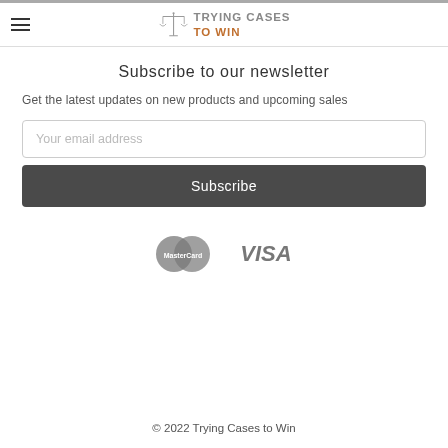Trying Cases To Win
Subscribe to our newsletter
Get the latest updates on new products and upcoming sales
[Figure (other): Email address input field with placeholder text 'Your email address' and a Subscribe button below it]
[Figure (other): Payment method logos: MasterCard and VISA]
© 2022 Trying Cases to Win